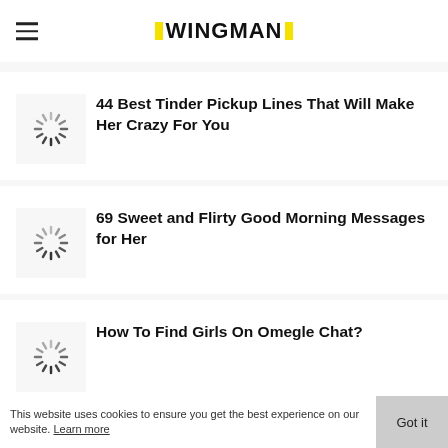≡ WINGMAN
44 Best Tinder Pickup Lines That Will Make Her Crazy For You
[Figure (other): Loading spinner icon]
69 Sweet and Flirty Good Morning Messages for Her
[Figure (other): Loading spinner icon]
How To Find Girls On Omegle Chat?
[Figure (other): Loading spinner icon]
This website uses cookies to ensure you get the best experience on our website. Learn more